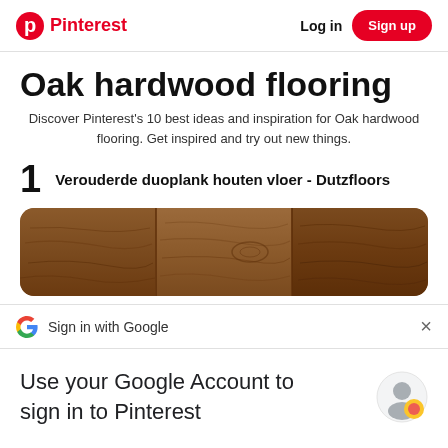Pinterest | Log in | Sign up
Oak hardwood flooring
Discover Pinterest's 10 best ideas and inspiration for Oak hardwood flooring. Get inspired and try out new things.
1 Verouderde duoplank houten vloer - Dutzfloors
[Figure (photo): Close-up photo of dark oak hardwood flooring showing wood grain texture in warm brown tones]
Sign in with Google
Use your Google Account to sign in to Pinterest